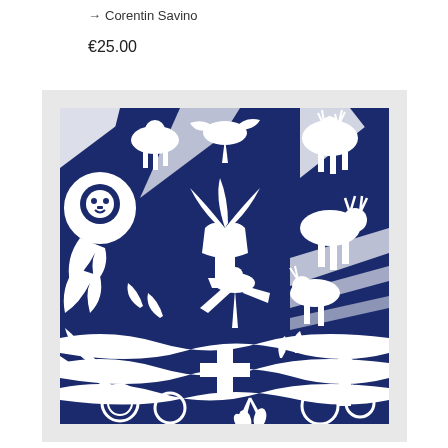→ Corentin Savino
€25.00
[Figure (illustration): A framed art print by Corentin Savino showing a dense, decorative illustration in navy blue and white. The artwork features numerous animals (lions, deer, birds, horses, goats) intertwined with tropical foliage, palm leaves, and geometric patterns. The style is bold and graphic, reminiscent of screen printing or linocut art. The print is shown in a light gray frame with white matting.]